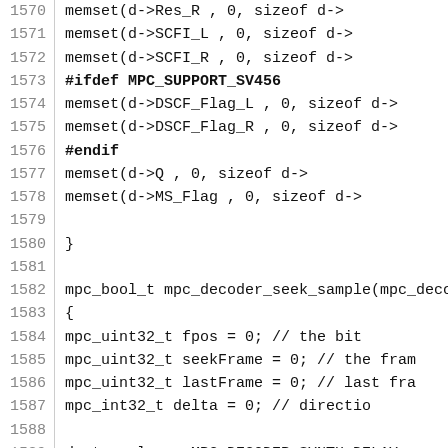[Figure (screenshot): Source code listing showing C code for mpc_decoder functions, lines 1570-1599, with line numbers in a left column and code on the right]